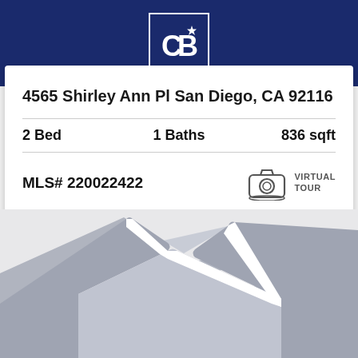[Figure (logo): Coldwell Banker logo — white CB with star on dark navy blue background, inside a white-bordered square box]
4565 Shirley Ann Pl San Diego, CA 92116
2 Bed   1 Baths   836 sqft
MLS# 220022422
VIRTUAL TOUR
Listing Courtesy of San Diego, CA MLS / Mission Hills / Bruce Bielaski
[Figure (illustration): Gray placeholder image showing stylized house roof/chevron shapes on white-gray background]